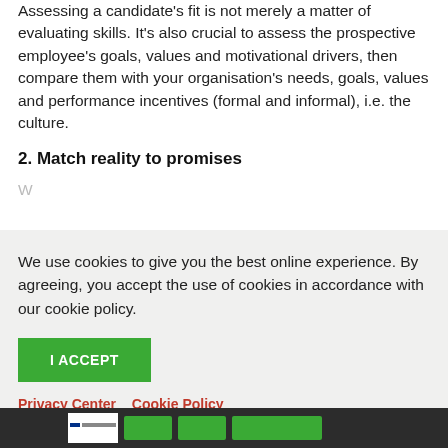Assessing a candidate's fit is not merely a matter of evaluating skills. It's also crucial to assess the prospective employee's goals, values and motivational drivers, then compare them with your organisation's needs, goals, values and performance incentives (formal and informal), i.e. the culture.
2. Match reality to promises
W...
We use cookies to give you the best online experience. By agreeing, you accept the use of cookies in accordance with our cookie policy.
I ACCEPT
Privacy Center   Cookie Policy